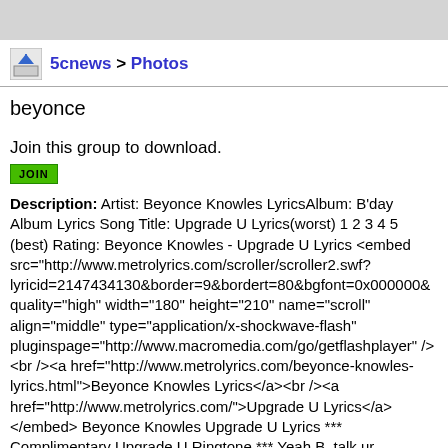[Figure (screenshot): Gray banner at top of page]
5cnews > Photos
beyonce
Join this group to download.
JOIN
Description: Artist: Beyonce Knowles LyricsAlbum: B'day Album Lyrics Song Title: Upgrade U Lyrics(worst) 1 2 3 4 5 (best) Rating: Beyonce Knowles - Upgrade U Lyrics <embed src="http://www.metrolyrics.com/scroller/scroller2.swf?lyricid=2147434130&border=9&bordert=80&bgfont=0x000000&quality="high" width="180" height="210" name="scroll" align="middle" type="application/x-shockwave-flash" pluginspage="http://www.macromedia.com/go/getflashplayer" /><br /><a href="http://www.metrolyrics.com/beyonce-knowles-lyrics.html">Beyonce Knowles Lyrics</a><br /><a href="http://www.metrolyrics.com/">Upgrade U Lyrics</a> </embed> Beyonce Knowles Upgrade U Lyrics *** Complimentary Upgrade U Ringtone *** Yeah B, talk ur ,